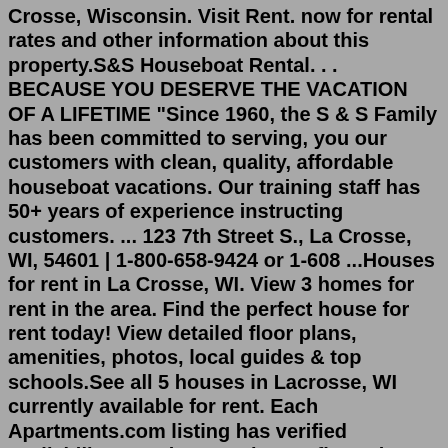Crosse, Wisconsin. Visit Rent. now for rental rates and other information about this property.S&S Houseboat Rental. . . BECAUSE YOU DESERVE THE VACATION OF A LIFETIME "Since 1960, the S & S Family has been committed to serving, you our customers with clean, quality, affordable houseboat vacations. Our training staff has 50+ years of experience instructing customers. ... 123 7th Street S., La Crosse, WI, 54601 | 1-800-658-9424 or 1-608 ...Houses for rent in La Crosse, WI. View 3 homes for rent in the area. Find the perfect house for rent today! View detailed floor plans, amenities, photos, local guides & top schools.See all 5 houses in Lacrosse, WI currently available for rent. Each Apartments.com listing has verified availability, rental rates, photos, floor plans and more. ... Whatever it is, you're looking for houses for rent in Lacrosse to find your next home. A rental house is the perfect place to make your own, with plenty of space for your family ...We offer property listing search for rental homes, owner homes, houses for rent, town homes/condos for rent.